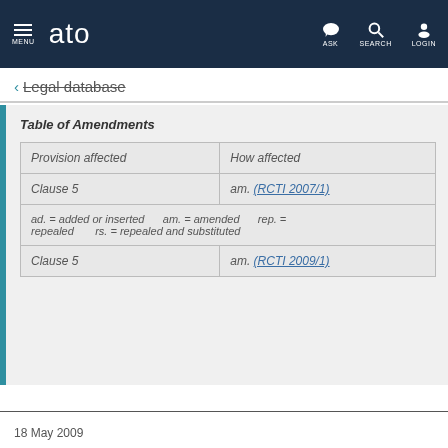ato — MENU | ASK | SEARCH | LOGIN
← Legal database
Table of Amendments
| Provision affected | How affected |
| --- | --- |
| Clause 5 | am. (RCTI 2007/1) |
| ad. = added or inserted    am. = amended    rep. = repealed    rs. = repealed and substituted |  |
| Clause 5 | am. (RCTI 2009/1) |
18 May 2009